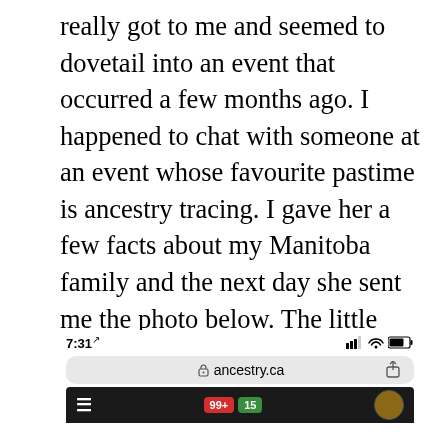really got to me and seemed to dovetail into an event that occurred a few months ago. I happened to chat with someone at an event whose favourite pastime is ancestry tracing. I gave her a few facts about my Manitoba family and the next day she sent me the photo below. The little girl in the center is apparently my grandmother, Flora Taylor. She stands beside her father, John “Johnny Boy” Taylor and the rest of the family is arrayed around her. Is it just me or does “Johnny Boy” look more than a little bit like Freddy Mercury…?
[Figure (screenshot): Mobile browser screenshot showing status bar with time 7:31, signal/wifi/battery icons, address bar showing ancestry.ca with lock icon and share button, and top of a dark browser toolbar with hamburger menu, notification badges (99+ in red, 15 in green), and a circular avatar.]